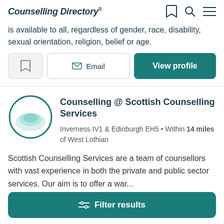Counselling Directory
is available to all, regardless of gender, race, disability, sexual orientation, religion, belief or age.
Email  View profile
Counselling @ Scottish Counselling Services
Inverness IV1 & Edinburgh EH5 • Within 14 miles of West Lothian
Scottish Counselling Services are a team of counsellors with vast experience in both the private and public sector services. Our aim is to offer a war...
Filter results